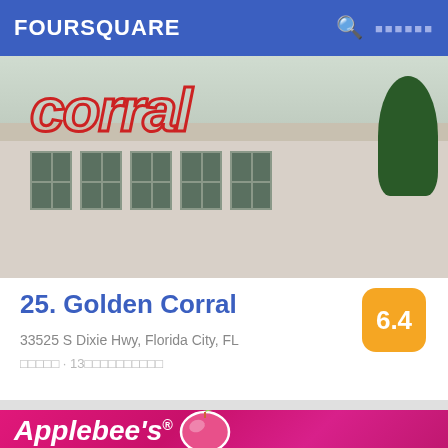FOURSQUARE
[Figure (photo): Exterior photo of Golden Corral restaurant building with red neon 'corral' sign visible, beige facade with green-tinted windows, trees in background]
25. Golden Corral
33525 S Dixie Hwy, Florida City, FL
□□□□□ · 13□□□□□□□□□□
[Figure (photo): Applebee's restaurant logo on magenta/pink background showing white Applebee's script text with apple icon above]